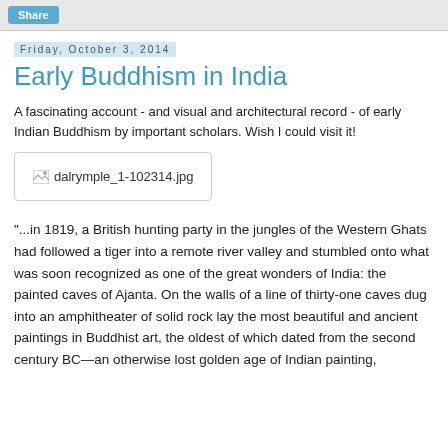Share
Friday, October 3, 2014
Early Buddhism in India
A fascinating account - and visual and architectural record - of early Indian Buddhism by important scholars. Wish I could visit it!
[Figure (photo): Image placeholder: dalrymple_1-102314.jpg]
"...in 1819, a British hunting party in the jungles of the Western Ghats had followed a tiger into a remote river valley and stumbled onto what was soon recognized as one of the great wonders of India: the painted caves of Ajanta. On the walls of a line of thirty-one caves dug into an amphitheater of solid rock lay the most beautiful and ancient paintings in Buddhist art, the oldest of which dated from the second century BC—an otherwise lost golden age of Indian painting,